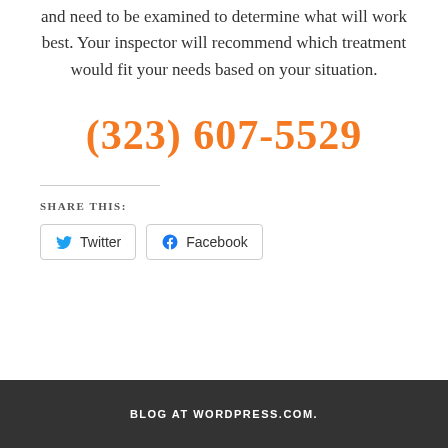and need to be examined to determine what will work best. Your inspector will recommend which treatment would fit your needs based on your situation.
(323) 607-5529
SHARE THIS:
Twitter
Facebook
BLOG AT WORDPRESS.COM.